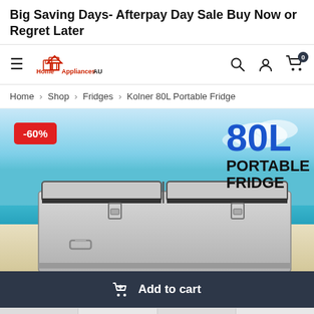Big Saving Days- Afterpay Day Sale Buy Now or Regret Later
[Figure (screenshot): Website navigation bar with hamburger menu, Home Appliances AU logo, search icon, user icon, and cart icon with 0 badge]
Home > Shop > Fridges > Kolner 80L Portable Fridge
[Figure (photo): Kolner 80L Portable Fridge product image showing a silver chest fridge with two lids and metal latches on a beach background, with -60% discount badge and '80L PORTABLE FRIDGE' text overlay]
Add to cart